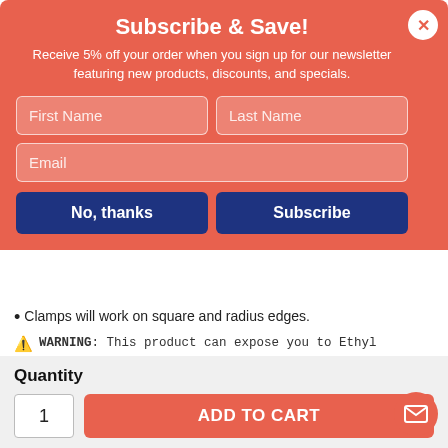Subscribe & Save!
Receive 5% off your order when you sign up for our newsletter featuring new products, discounts, and specials.
First Name | Last Name | Email (form fields)
No, thanks | Subscribe (buttons)
Clamps will work on square and radius edges.
WARNING: This product can expose you to Ethyl acrylate, which is known to the State of California to cause Cancer. For more information go to www.P65Warnings.ca.gov.
[Figure (logo): UPS logo - brown shield with yellow UPS text]
Ships in 2-3 Business Days
Quantity
1
ADD TO CART